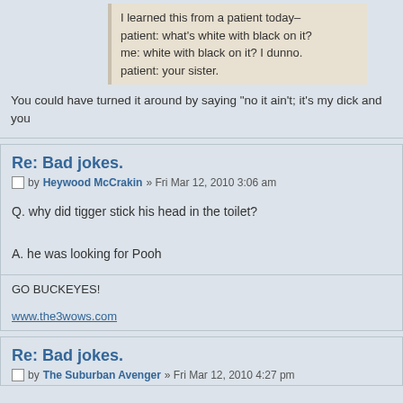I learned this from a patient today–
patient: what's white with black on it?
me: white with black on it? I dunno.
patient: your sister.
You could have turned it around by saying "no it ain't; it's my dick and you
Re: Bad jokes.
by Heywood McCrakin » Fri Mar 12, 2010 3:06 am
Q. why did tigger stick his head in the toilet?

A. he was looking for Pooh
GO BUCKEYES!

www.the3wows.com
Re: Bad jokes.
by The Suburban Avenger » Fri Mar 12, 2010 4:27 pm